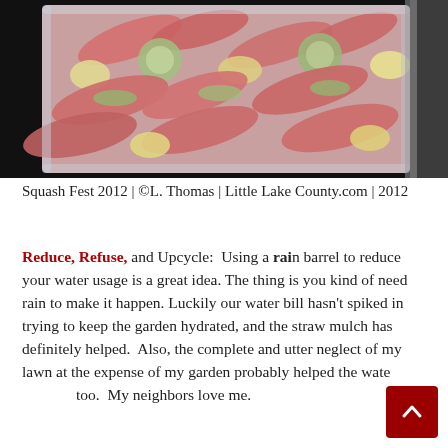[Figure (photo): A glass baking dish filled with sliced squash, sausages, and vegetables arranged in overlapping rows, photographed from above.]
Squash Fest 2012 | ©L. Thomas | Little Lake County.com | 2012
Reduce, Refuse, and Upcycle: Using a rain barrel to reduce your water usage is a great idea. The thing is you kind of need rain to make it happen. Luckily our water bill hasn't spiked in trying to keep the garden hydrated, and the straw mulch has definitely helped. Also, the complete and utter neglect of my lawn at the expense of my garden probably helped the water too. My neighbors love me.